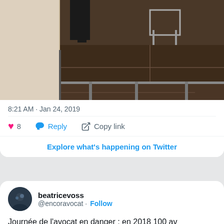[Figure (photo): A stage/platform with dark brown/wood surface, multi-level steps, visible chair and person's legs at top. Indoor event setting.]
8:21 AM · Jan 24, 2019
8  Reply  Copy link
Explore what's happening on Twitter
beatricevoss
@encoravocat · Follow
Journée de l'avocat en danger : en 2018 100 av emprisonnés pour avoir  exercé leur profession Retrouvons-nous à 13h place Bolivie  à Paris.